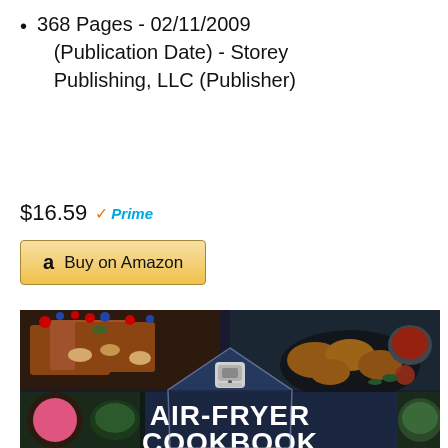368 Pages - 02/11/2009 (Publication Date) - Storey Publishing, LLC (Publisher)
$16.59 Prime
[Figure (screenshot): Buy on Amazon button with Amazon logo]
[Figure (photo): Air-Fryer Cookbook book cover showing food photos including french toast with berries and fried chicken, with 'AIR-FRYER COOKBOOK' text on dark background with air fryer appliance graphic]